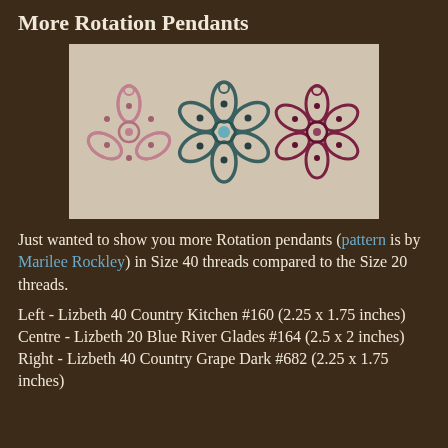More Rotation Pendants
[Figure (photo): Three tatted rotation pendants side by side: left is pink/rose (Country Kitchen), centre is teal/blue-green (Blue River Glades), right is dark burgundy/grape (Country Grape Dark).]
Just wanted to show you more Rotation pendants (pattern is by Marilee Rockley) in Size 40 threads compared to the Size 20 threads.
Left - Lizbeth 40 Country Kitchen #160 (2.25 x 1.75 inches)
Centre - Lizbeth 20 Blue River Glades #164 (2.5 x 2 inches)
Right - Lizbeth 40 Country Grape Dark #682 (2.25 x 1.75 inches)